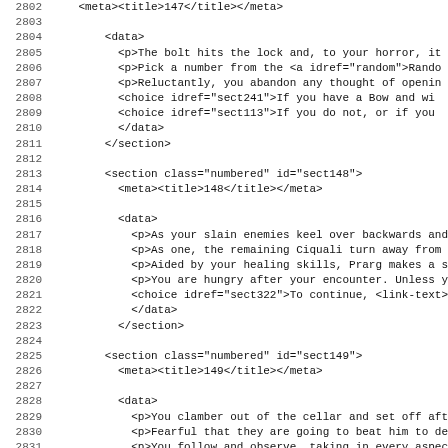Source code listing, lines 2802-2834, XML/markup content for a game book section
2802    <meta><title>147</title></meta>
2803
2804        <data>
2805          <p>The bolt hits the lock and, to your horror, it
2806          <p>Pick a number from the <a idref="random">Rando
2807          <p>Reluctantly, you abandon any thought of openin
2808          <choice idref="sect241">If you have a Bow and wi
2809          <choice idref="sect113">If you do not, or if you
2810          </data>
2811        </section>
2812
2813        <section class="numbered" id="sect148">
2814          <meta><title>148</title></meta>
2815
2816          <data>
2817            <p>As your slain enemies keel over backwards and
2818            <p>As one, the remaining Ciquali turn away from t
2819            <p>Aided by your healing skills, Prarg makes a sp
2820            <p>You are hungry after your encounter. Unless yo
2821            <choice idref="sect322">To continue, <link-text>t
2822            </data>
2823          </section>
2824
2825        <section class="numbered" id="sect149">
2826          <meta><title>149</title></meta>
2827
2828          <data>
2829            <p>You clamber out of the cellar and set off afte
2830            <p>Fearful that they are going to beat him to dea
2831            <p>You follow and observe, taking in every aspect
2832
2833            <illustration class="inline">
2834              <meta>